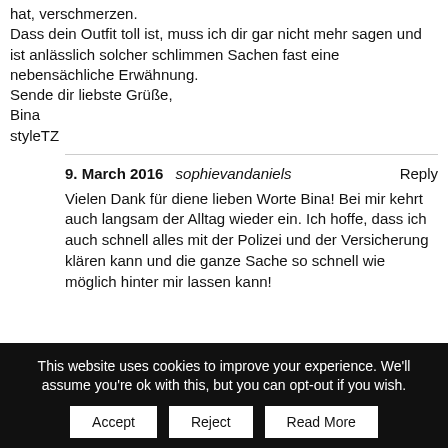hat, verschmerzen.
Dass dein Outfit toll ist, muss ich dir gar nicht mehr sagen und ist anlässlich solcher schlimmen Sachen fast eine nebensächliche Erwähnung.
Sende dir liebste Grüße,
Bina
styleTZ
9. March 2016 sophievandaniels Reply
Vielen Dank für diene lieben Worte Bina! Bei mir kehrt auch langsam der Alltag wieder ein. Ich hoffe, dass ich auch schnell alles mit der Polizei und der Versicherung klären kann und die ganze Sache so schnell wie möglich hinter mir lassen kann!
This website uses cookies to improve your experience. We'll assume you're ok with this, but you can opt-out if you wish. Accept Reject Read More